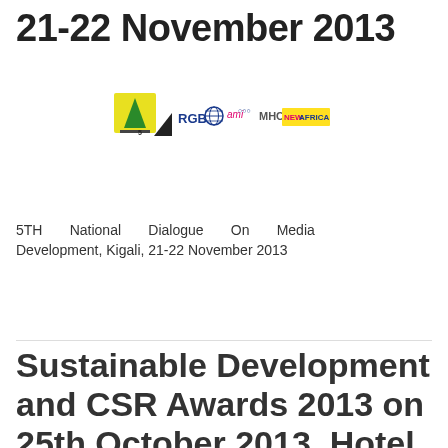21-22 November 2013
[Figure (logo): Logos of partner organizations: RGB, UN, ami, MHC, NEW AFRICA]
5TH National Dialogue On Media Development, Kigali, 21-22 November 2013
Read More »
Sustainable Development and CSR Awards 2013 on 25th October 2013, Hotel Atria, Bangalore